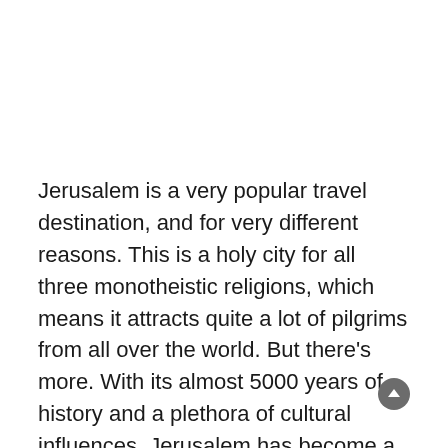Jerusalem is a very popular travel destination, and for very different reasons. This is a holy city for all three monotheistic religions, which means it attracts quite a lot of pilgrims from all over the world. But there's more. With its almost 5000 years of history and a plethora of cultural influences, Jerusalem has become a vibrant melting pot ànd an important tourist magnet. The combination of pilgrims and tourists naturally results in large crowds inside